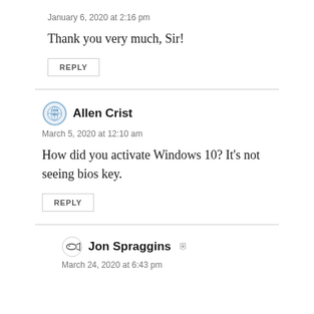January 6, 2020 at 2:16 pm
Thank you very much, Sir!
REPLY
Allen Crist
March 5, 2020 at 12:10 am
How did you activate Windows 10? It’s not seeing bios key.
REPLY
Jon Spraggins
March 24, 2020 at 6:43 pm